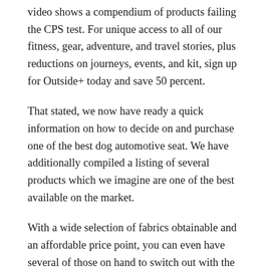video shows a compendium of products failing the CPS test. For unique access to all of our fitness, gear, adventure, and travel stories, plus reductions on journeys, events, and kit, sign up for Outside+ today and save 50 percent.
That stated, we now have ready a quick information on how to decide on and purchase one of the best dog automotive seat. We have additionally compiled a listing of several products which we imagine are one of the best available on the market.
With a wide selection of fabrics obtainable and an affordable price point, you can even have several of those on hand to switch out with the seasons. Or as often as you modify your dog's outfit or leash design, whichever is extra usually. This set up is much more appropriate for bigger breeds because it gives them much more room for getting comfy whereas additionally giving them essential protection.